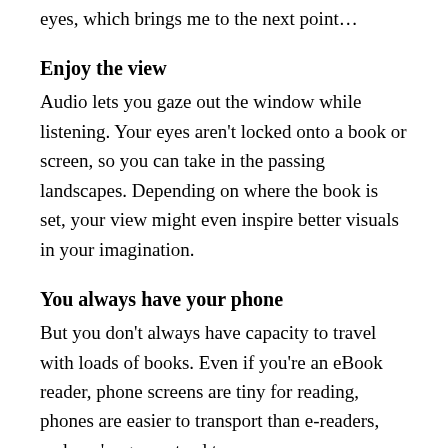eyes, which brings me to the next point…
Enjoy the view
Audio lets you gaze out the window while listening. Your eyes aren't locked onto a book or screen, so you can take in the passing landscapes. Depending on where the book is set, your view might even inspire better visuals in your imagination.
You always have your phone
But you don't always have capacity to travel with loads of books. Even if you're an eBook reader, phone screens are tiny for reading, phones are easier to transport than e-readers, and you're guaranteed to